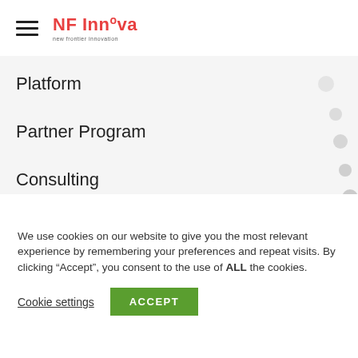[Figure (logo): NFInnova logo with hamburger menu icon and tagline 'new frontier innovation']
Platform
Partner Program
Consulting
Contact us ...
We use cookies on our website to give you the most relevant experience by remembering your preferences and repeat visits. By clicking “Accept”, you consent to the use of ALL the cookies.
Cookie settings
ACCEPT